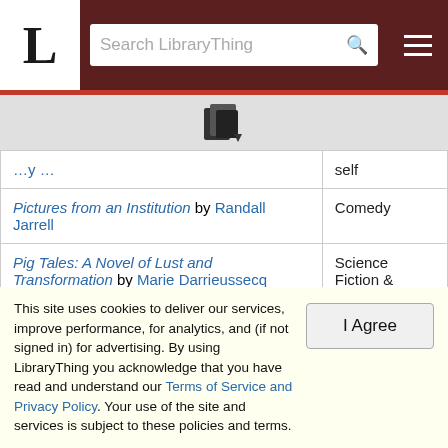LibraryThing - Search LibraryThing
| Book | Genre |
| --- | --- |
| Pictures from an Institution by Randall Jarrell | Comedy |
| Pig Tales: A Novel of Lust and Transformation by Marie Darrieussecq | Science Fiction & Fantasy |
| Pilgrimage I: Pointed Roofs / Backwater / Honeycomb by Dorothy M. Richardson | Family and self |
| The Plague by Albert Camus | State of the nation |
This site uses cookies to deliver our services, improve performance, for analytics, and (if not signed in) for advertising. By using LibraryThing you acknowledge that you have read and understand our Terms of Service and Privacy Policy. Your use of the site and services is subject to these policies and terms.